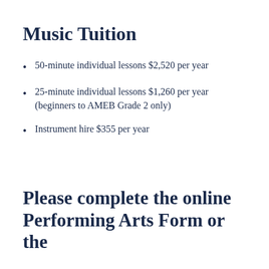Music Tuition
50-minute individual lessons $2,520 per year
25-minute individual lessons $1,260 per year (beginners to AMEB Grade 2 only)
Instrument hire $355 per year
Please complete the online Performing Arts Form or the